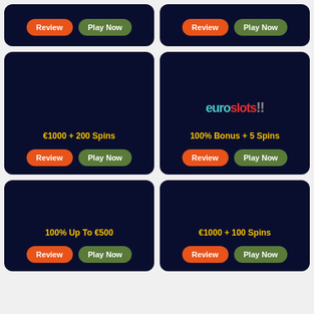[Figure (screenshot): Top-left casino card with Review and Play Now buttons]
[Figure (screenshot): Top-right casino card with Review and Play Now buttons]
[Figure (screenshot): Middle-left casino card: €1000 + 200 Spins offer with Review and Play Now buttons]
[Figure (screenshot): Middle-right casino card: Euroslots logo, 100% Bonus + 5 Spins offer with Review and Play Now buttons]
[Figure (screenshot): Bottom-left casino card: 100% Up To €500 offer with Review and Play Now buttons]
[Figure (screenshot): Bottom-right casino card: €1000 + 100 Spins offer with Review and Play Now buttons]